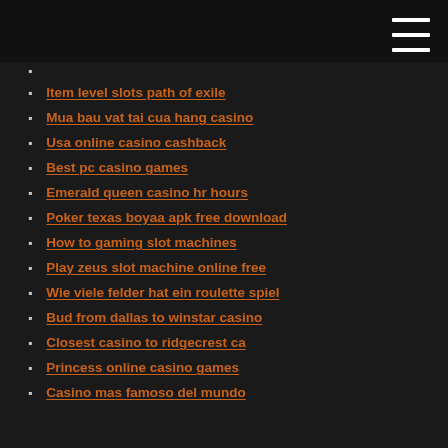Item level slots path of exile
Mua bau vat tai cua hang casino
Usa online casino cashback
Best pc casino games
Emerald queen casino hr hours
Poker texas boyaa apk free download
How to gaming slot machines
Play zeus slot machine online free
Wie viele felder hat ein roulette spiel
Bud from dallas to winstar casino
Closest casino to ridgecrest ca
Princess online casino games
Casino mas famoso del mundo